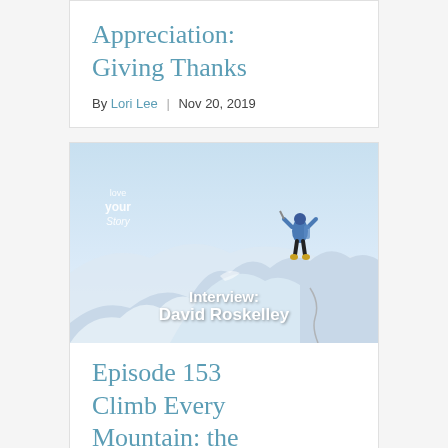Appreciation: Giving Thanks
By Lori Lee | Nov 20, 2019
[Figure (photo): A mountain climber standing on a snowy peak, wearing blue gear, with 'Love Your Story' logo overlay and text 'Interview: David Roskelley']
Episode 153 Climb Every Mountain: the